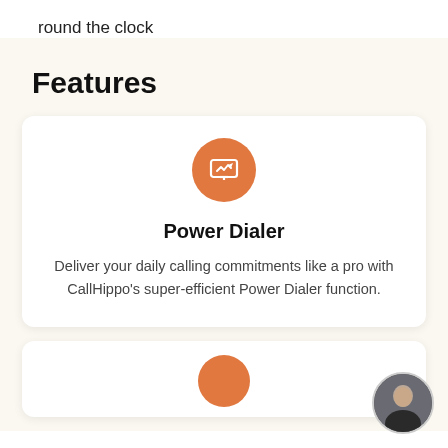round the clock
Features
[Figure (illustration): Orange circle icon with a monitor/screen symbol inside, representing Power Dialer feature]
Power Dialer
Deliver your daily calling commitments like a pro with CallHippo's super-efficient Power Dialer function.
[Figure (illustration): Partially visible orange circle icon at the bottom of the page, beginning of next feature card]
[Figure (photo): Circular avatar photo of a woman in dark clothing, positioned bottom-right corner]